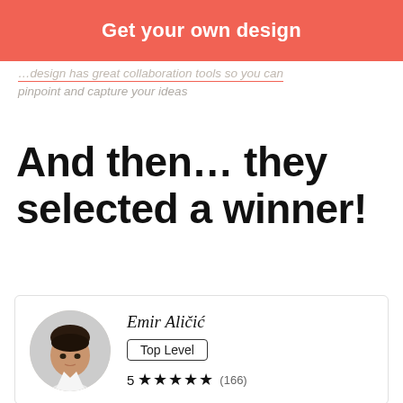[Figure (screenshot): Red/coral button bar with white bold text 'Get your own design']
…design has great collaboration tools so you can pinpoint and capture your ideas
And then… they selected a winner!
[Figure (infographic): Card with circular avatar photo of Emir Aličić, name label, 'Top Level' badge, and star rating 5 stars (166)]